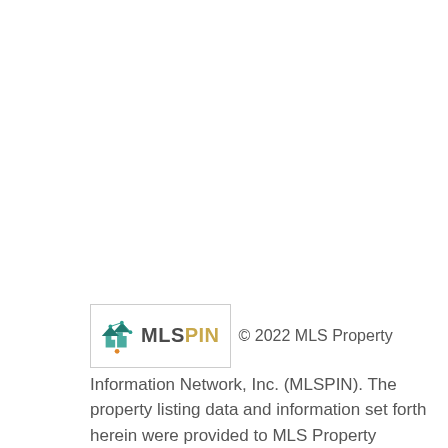© 2022 MLS Property Information Network, Inc. (MLSPIN). The property listing data and information set forth herein were provided to MLS Property